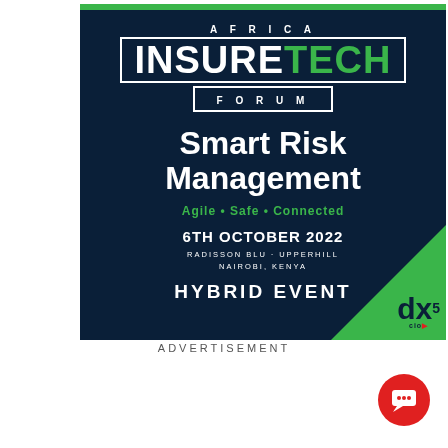[Figure (illustration): Africa InsureTech Forum advertisement banner. Dark navy background with green accents. Shows event details: Smart Risk Management, 6th October 2022, Radisson Blu - Upperhill, Nairobi, Kenya, Hybrid Event. Green triangle in bottom-right corner with dx5 CIO logo.]
ADVERTISEMENT